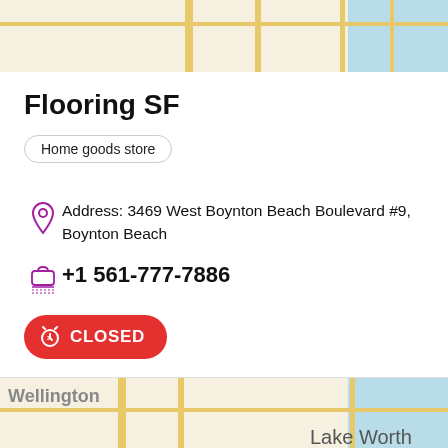[Figure (map): Top portion of a street map showing road grid and water body (blue) on the right side]
Flooring SF
Home goods store
Address: 3469 West Boynton Beach Boulevard #9, Boynton Beach
+1 561-777-7886
CLOSED
[Figure (map): Bottom portion of a street map showing Wellington label, Lake Worth label, road grid, water body on right, and a purple map pin marker]